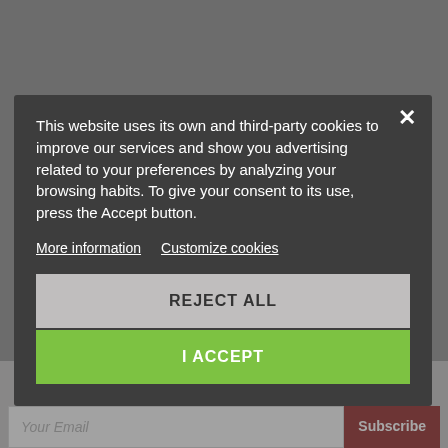This website uses its own and third-party cookies to improve our services and show you advertising related to your preferences by analyzing your browsing habits. To give your consent to its use, press the Accept button.
More information
Customize cookies
REJECT ALL
I ACCEPT
SUBSCRIBE TO OUR NEWSLETTER
Your Email
Subscribe